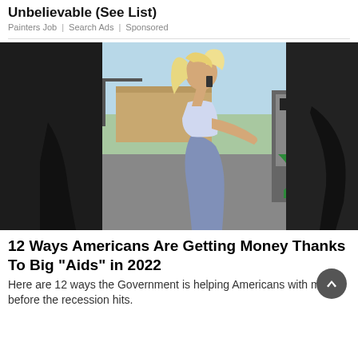Unbelievable (See List)
Painters Job | Search Ads | Sponsored
[Figure (photo): Woman with long blonde hair pumping gas at a gas station, wearing a white tank top and blue leggings, talking on phone]
12 Ways Americans Are Getting Money Thanks To Big "Aids" in 2022
Here are 12 ways the Government is helping Americans with money before the recession hits.